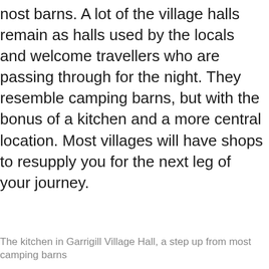nost barns. A lot of the village halls remain as halls used by the locals and welcome travellers who are passing through for the night. They resemble camping barns, but with the bonus of a kitchen and a more central location. Most villages will have shops to resupply you for the next leg of your journey.
The kitchen in Garrigill Village Hall, a step up from most camping barns